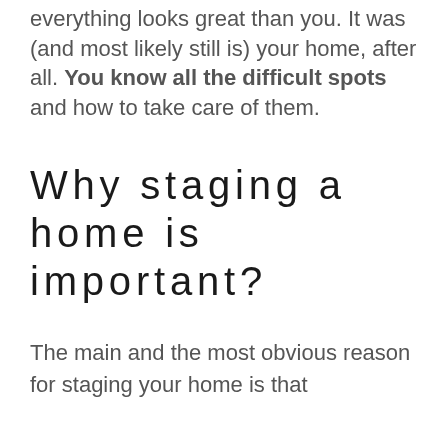everything looks great than you. It was (and most likely still is) your home, after all. You know all the difficult spots and how to take care of them.
Why staging a home is important?
The main and the most obvious reason for staging your home is that